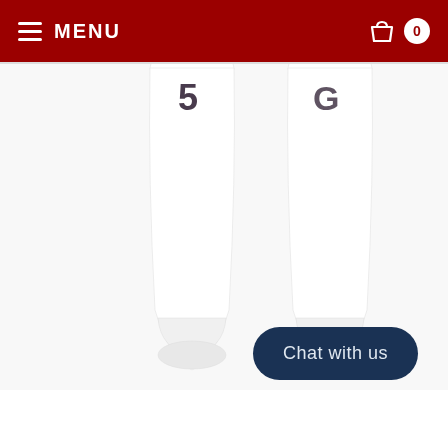MENU
[Figure (photo): Two white cricket leg guard pads / shin guards photographed against a white background, showing the lower leg and ankle area with a logo mark visible near the top of each guard.]
Chat with us